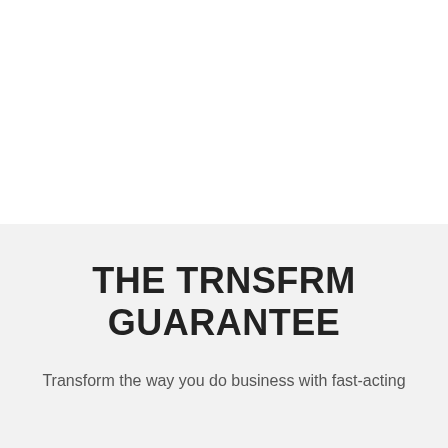THE TRNSFRM GUARANTEE
Transform the way you do business with fast-acting